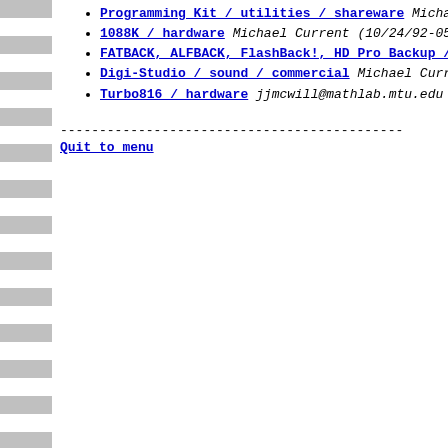Programming Kit / utilities / shareware Michael Curren...
1088K / hardware Michael Current (10/24/92-05:4...
FATBACK, ALFBACK, FlashBack!, HD Pro Backup / u...
Digi-Studio / sound / commercial Michael Curren...
Turbo816 / hardware jjmcwill@mathlab.mtu.edu (0...
--------------------------------------------
Quit to menu